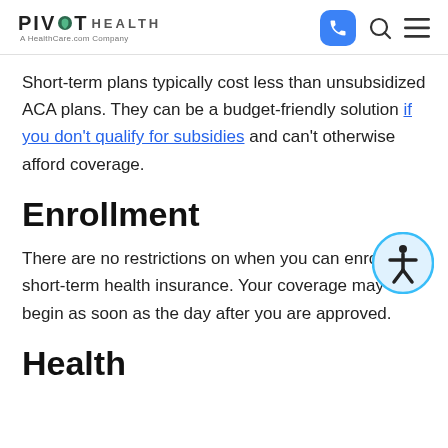PIVOT HEALTH A HealthCare.com Company
Short-term plans typically cost less than unsubsidized ACA plans. They can be a budget-friendly solution if you don't qualify for subsidies and can't otherwise afford coverage.
Enrollment
There are no restrictions on when you can enroll in short-term health insurance. Your coverage may begin as soon as the day after you are approved.
Health